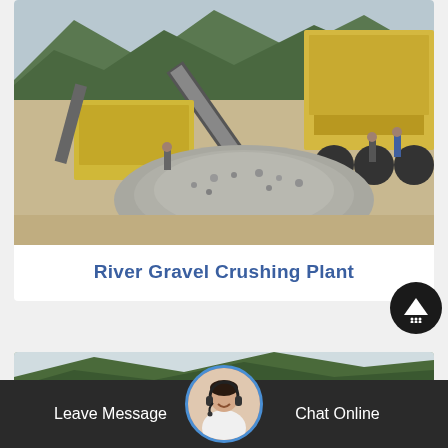[Figure (photo): River gravel crushing plant with yellow industrial crushing and conveyor equipment, a large pile of crushed gravel in the foreground, green mountainous terrain in the background, workers visible near the machinery.]
River Gravel Crushing Plant
[Figure (photo): Partially visible photo of a quarry or crushing site with green tree-covered hills and light sky, showing the top portion of the second gallery item.]
Leave Message
Chat Online